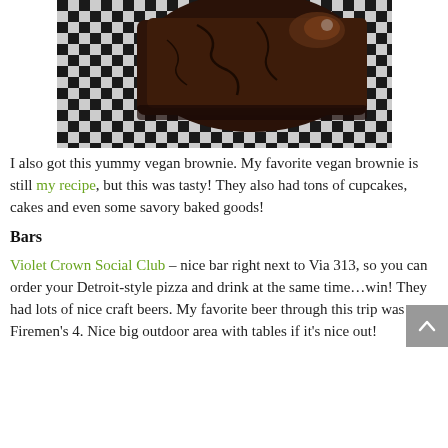[Figure (photo): A large chocolate vegan brownie sitting on a black and white checkered surface/paper, photographed from above at an angle. The brownie is dark brown with a cracked top surface.]
I also got this yummy vegan brownie. My favorite vegan brownie is still my recipe, but this was tasty! They also had tons of cupcakes, cakes and even some savory baked goods!
Bars
Violet Crown Social Club – nice bar right next to Via 313, so you can order your Detroit-style pizza and drink at the same time…win! They had lots of nice craft beers. My favorite beer through this trip was Firemen's 4. Nice big outdoor area with tables if it's nice out!